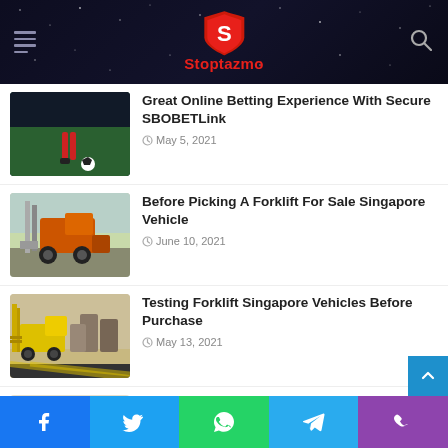Stoptazmo
Great Online Betting Experience With Secure SBOBETLink
May 5, 2021
Before Picking A Forklift For Sale Singapore Vehicle
June 10, 2021
Testing Forklift Singapore Vehicles Before Purchase
May 13, 2021
Benefits Of Working With The Best Maid Agency
May 13, 2021
Facebook Twitter WhatsApp Telegram Phone